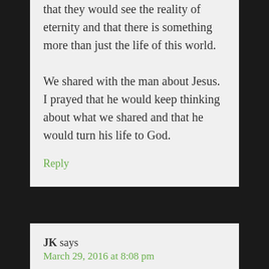that they would see the reality of eternity and that there is something more than just the life of this world.

We shared with the man about Jesus. I prayed that he would keep thinking about what we shared and that he would turn his life to God.
Reply
JK says
March 29, 2016 at 8:08 pm
I pray that the name of Jesus will be on